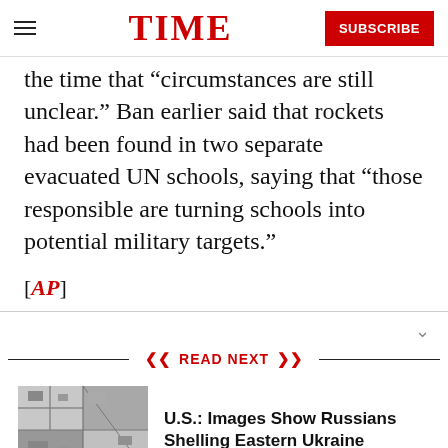TIME  SUBSCRIBE
the time that “circumstances are still unclear.” Ban earlier said that rockets had been found in two separate evacuated UN schools, saying that “those responsible are turning schools into potential military targets.”
[AP]
READ NEXT
[Figure (photo): Satellite aerial image showing ground features, used as thumbnail for Ukraine article]
U.S.: Images Show Russians Shelling Eastern Ukraine